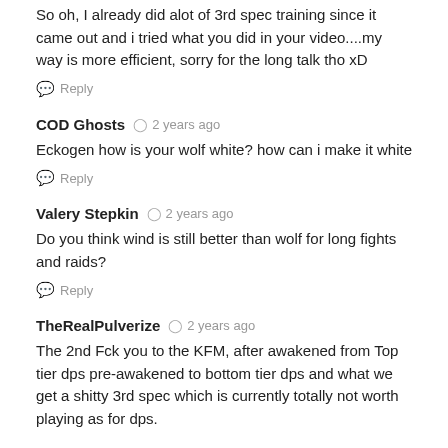So oh, I already did alot of 3rd spec training since it came out and i tried what you did in your video....my way is more efficient, sorry for the long talk tho xD
Reply
COD Ghosts  2 years ago
Eckogen how is your wolf white? how can i make it white
Reply
Valery Stepkin  2 years ago
Do you think wind is still better than wolf for long fights and raids?
Reply
TheRealPulverize  2 years ago
The 2nd Fck you to the KFM, after awakened from Top tier dps pre-awakened to bottom tier dps and what we get a shitty 3rd spec which is currently totally not worth playing as for dps.